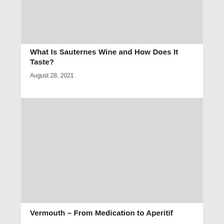[Figure (photo): Top image placeholder — light gray rectangle]
What Is Sauternes Wine and How Does It Taste?
August 28, 2021
[Figure (photo): Second image placeholder — light gray rectangle]
Vermouth – From Medication to Aperitif